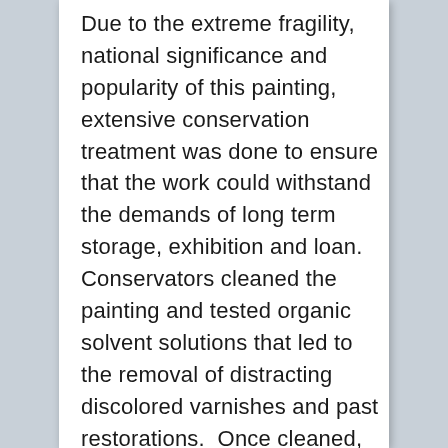Due to the extreme fragility, national significance and popularity of this painting, extensive conservation treatment was done to ensure that the work could withstand the demands of long term storage, exhibition and loan. Conservators cleaned the painting and tested organic solvent solutions that led to the removal of distracting discolored varnishes and past restorations.  Once cleaned, the paint was consolidated on a multi-purpose heated suction table, and the canvas received a supportive lining. Lining is rarely done to museum paintings, but the painting